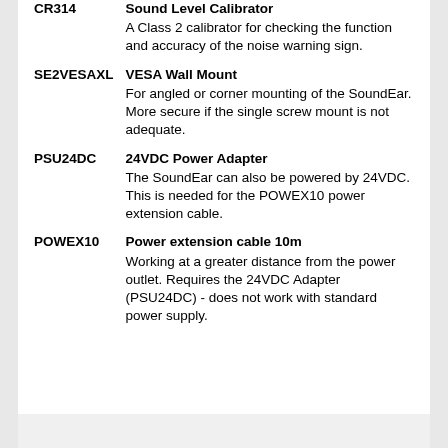| Code | Description |
| --- | --- |
| CR314 | Sound Level Calibrator
A Class 2 calibrator for checking the function and accuracy of the noise warning sign. |
| SE2VESAXL | VESA Wall Mount
For angled or corner mounting of the SoundEar. More secure if the single screw mount is not adequate. |
| PSU24DC | 24VDC Power Adapter
The SoundEar can also be powered by 24VDC. This is needed for the POWEX10 power extension cable. |
| POWEX10 | Power extension cable 10m
Working at a greater distance from the power outlet. Requires the 24VDC Adapter (PSU24DC) - does not work with standard power supply. |